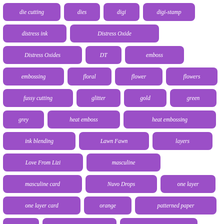die cutting
dies
digi
digi-stamp
distress ink
Distress Oxide
Distress Oxides
DT
emboss
embossing
floral
flower
flowers
fussy cutting
glitter
gold
green
grey
heat emboss
heat embossing
ink blending
Lawn Fawn
layers
Love From Lizi
masculine
masculine card
Nuvo Drops
one layer
one layer card
orange
patterned paper
pink
Pink & Main
Pink and Main